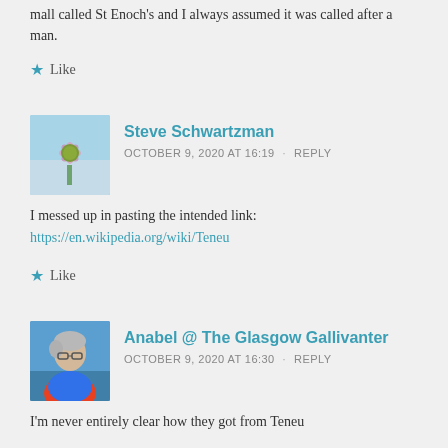mall called St Enoch's and I always assumed it was called after a man.
Like
Steve Schwartzman
OCTOBER 9, 2020 AT 16:19 · REPLY
I messed up in pasting the intended link:
https://en.wikipedia.org/wiki/Teneu
Like
Anabel @ The Glasgow Gallivanter
OCTOBER 9, 2020 AT 16:30 · REPLY
I'm never entirely clear how they got from Teneu